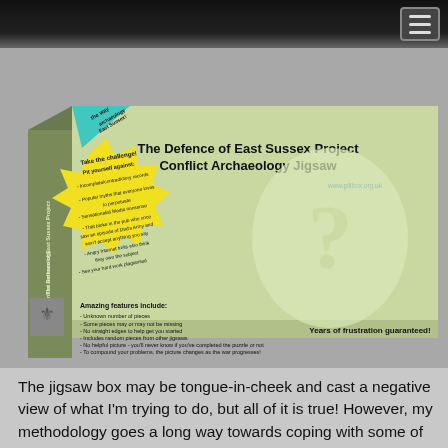[Figure (photo): A jigsaw puzzle box for 'The Defence of East Sussex Project Conflict Archaeology Jigsaw'. The box has a light green background with text about the project. There is a star-burst yellow shape saying 'Take the challenge! Pit yourself against:' listing items like incomplete/contradictory records, popular myths, sensationalist media nonsense, a bloke in the pub, angry internet trolls, and 'See your hard work plagiarised'. The box also lists 'Amazing features include:' with bullet points. A question mark shape made of puzzle pieces appears on the right side. Text includes www.pillbox.org.uk and 'Years of frustration guaranteed!']
The jigsaw box may be tongue-in-cheek and cast a negative view of what I'm trying to do, but all of it is true! However, my methodology goes a long way towards coping with some of these pitfalls.